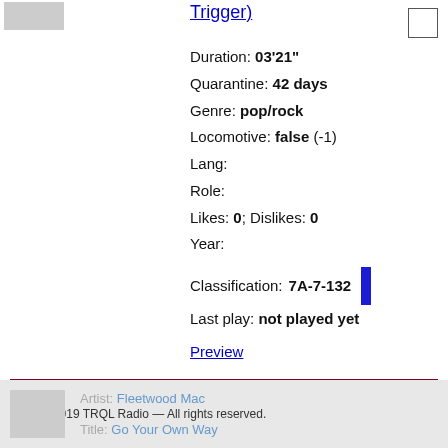Trigger)
Duration: 03'21"
Quarantine: 42 days
Genre: pop/rock
Locomotive: false (-1)
Lang:
Role:
Likes: 0; Dislikes: 0
Year:
Classification: 7A-7-132
Last play: not played yet
Preview
Artist: Fleetwood Mac
© 2017-2019 TRQL Radio — All rights reserved.
Title: Go Your Own Way